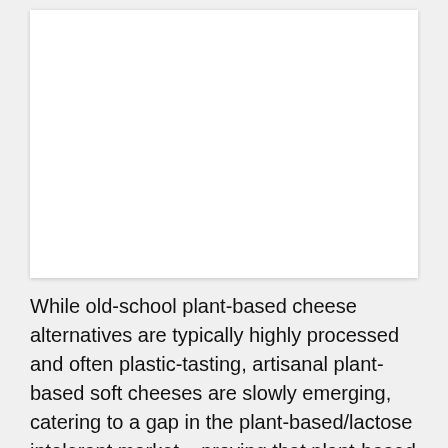[Figure (other): White empty rectangular card/image placeholder with a subtle drop shadow, taking up the upper portion of the page.]
While old-school plant-based cheese alternatives are typically highly processed and often plastic-tasting, artisanal plant-based soft cheeses are slowly emerging, catering to a gap in the plant-based/lactose intolerant market – proving that plant-based cheese can taste exactly like the real